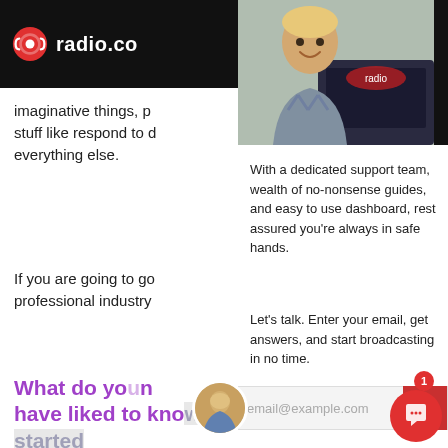radio.co
[Figure (photo): Young man smiling in front of a laptop showing radio.co logo]
imaginative things, p... stuff like respond to d... everything else.
With a dedicated support team, wealth of no-nonsense guides, and easy to use dashboard, rest assured you're always in safe hands.
Let's talk. Enter your email, get answers, and start broadcasting in no time.
If you are going to go... professional industry...
What do you... have liked to know before you started running the URB... station?
I thought "would I have liked to have known that I... end up in radio?", because maybe I then could hav... skipped a whole bunch of intermediate steps and not